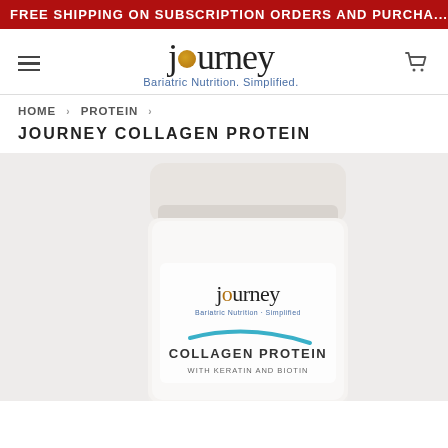FREE SHIPPING ON SUBSCRIPTION ORDERS AND PURCHA...
[Figure (logo): Journey Bariatric Nutrition. Simplified. logo with golden 'o' circle and teal tagline]
HOME › PROTEIN ›
JOURNEY COLLAGEN PROTEIN
[Figure (photo): White cylindrical protein powder container with Journey Bariatric Nutrition Simplified logo, labeled COLLAGEN PROTEIN WITH KERATIN AND BIOTIN, on light gray background]